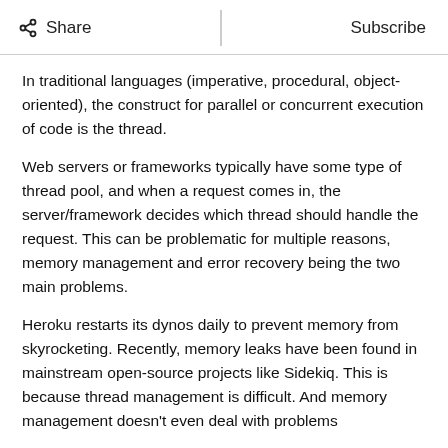Share  |  Subscribe
In traditional languages (imperative, procedural, object-oriented), the construct for parallel or concurrent execution of code is the thread.
Web servers or frameworks typically have some type of thread pool, and when a request comes in, the server/framework decides which thread should handle the request. This can be problematic for multiple reasons, memory management and error recovery being the two main problems.
Heroku restarts its dynos daily to prevent memory from skyrocketing. Recently, memory leaks have been found in mainstream open-source projects like Sidekiq. This is because thread management is difficult. And memory management doesn't even deal with problems